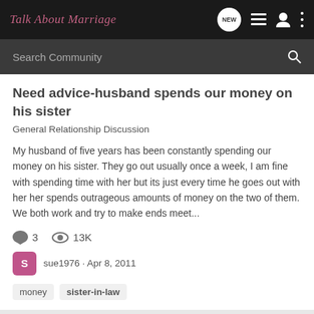Talk About Marriage
Search Community
Need advice-husband spends our money on his sister
General Relationship Discussion
My husband of five years has been constantly spending our money on his sister. They go out usually once a week, I am fine with spending time with her but its just every time he goes out with her her spends outrageous amounts of money on the two of them. We both work and try to make ends meet...
3  13K
sue1976 · Apr 8, 2011
money  sister-in-law